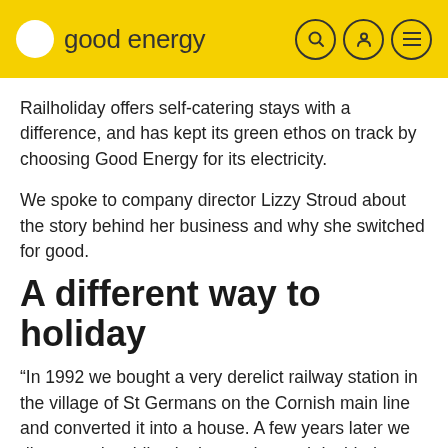good energy
Railholiday offers self-catering stays with a difference, and has kept its green ethos on track by choosing Good Energy for its electricity.
We spoke to company director Lizzy Stroud about the story behind her business and why she switched for good.
A different way to holiday
“In 1992 we bought a very derelict railway station in the village of St Germans on the Cornish main line and converted it into a house. A few years later we discovered a siding in the garden and decided to find a railway carriage to house our friends and family when